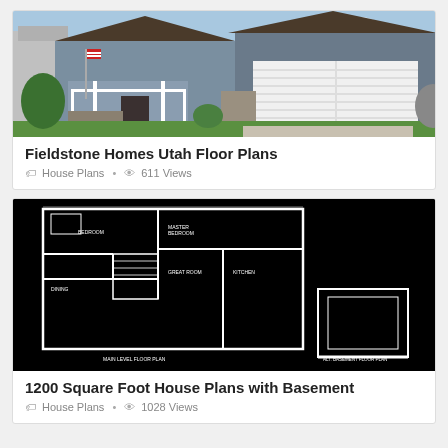[Figure (photo): Exterior photo of a two-story house with blue-gray siding, white garage door, stone accents, porch with white railing, and American flag. Green lawn and trees in foreground.]
Fieldstone Homes Utah Floor Plans
House Plans  •  611 Views
[Figure (engineering-diagram): Black and white floor plan blueprint on black background showing room layouts, walls, and labels for a house with basement. Text at bottom reads 'MAIN LEVEL FLOOR PLAN' and 'ALT. BASEMENT FLOOR PLAN'.]
1200 Square Foot House Plans with Basement
House Plans  •  1028 Views